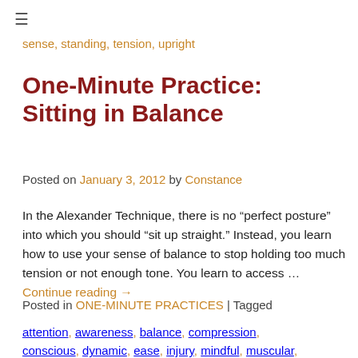≡
sense, standing, tension, upright
One-Minute Practice: Sitting in Balance
Posted on January 3, 2012 by Constance
In the Alexander Technique, there is no “perfect posture” into which you should “sit up straight.” Instead, you learn how to use your sense of balance to stop holding too much tension or not enough tone. You learn to access …
Continue reading →
Posted in ONE-MINUTE PRACTICES | Tagged attention, awareness, balance, compression, conscious, dynamic, ease, injury, mindful, muscular,